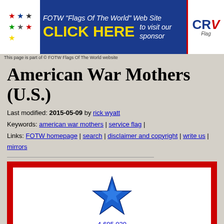[Figure (other): FOTW Flags Of The World website banner with colored stars, CLICK HERE text, to visit our sponsor text, and CRW Flags logo]
This page is part of © FOTW Flags Of The World website
American War Mothers (U.S.)
Last modified: 2015-05-09 by rick wyatt
Keywords: american war mothers | service flag |
Links: FOTW homepage | search | disclaimer and copyright | write us | mirrors
[Figure (illustration): United States Service Flag: red border with white interior showing a blue star above the number 4,695,039 and text 'United States Service Flag', with a partial gold star visible at bottom]